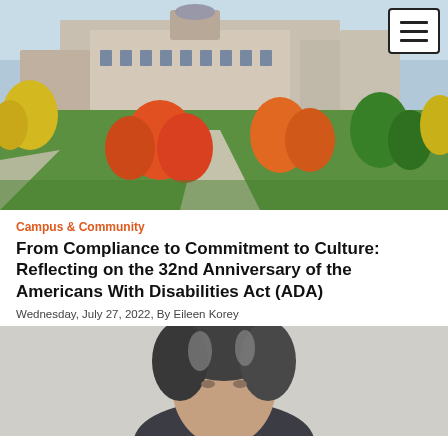[Figure (photo): Aerial view of a university campus in autumn with colorful foliage, brick buildings, and pathways]
Campus & Community
From Compliance to Commitment to Culture: Reflecting on the 32nd Anniversary of the Americans With Disabilities Act (ADA)
Wednesday, July 27, 2022, By Eileen Korey
[Figure (photo): Portrait photo of a person with gray and dark hair, partially visible from the top]